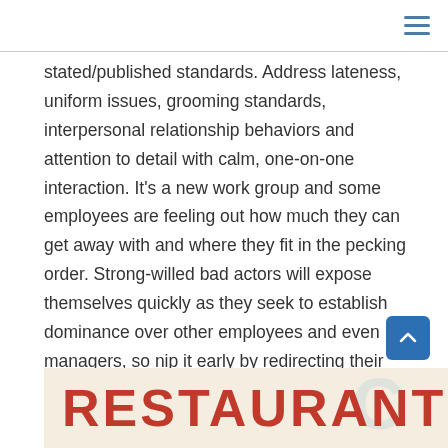≡
stated/published standards. Address lateness, uniform issues, grooming standards, interpersonal relationship behaviors and attention to detail with calm, one-on-one interaction. It's a new work group and some employees are feeling out how much they can get away with and where they fit in the pecking order. Strong-willed bad actors will expose themselves quickly as they seek to establish dominance over other employees and even managers, so nip it early by redirecting their energy toward desired leadership behaviors. -RC
[Figure (other): Bottom banner with 'RESTAURANT' text in bold red on a tan/beige background with a faint logo watermark on the right side]